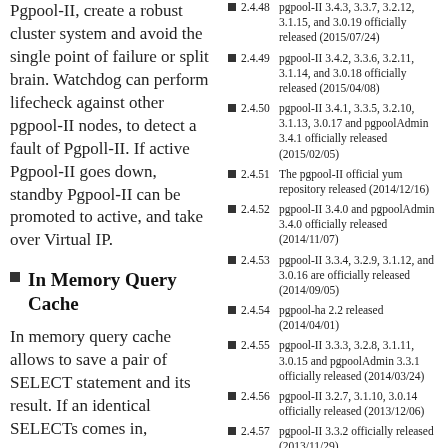Pgpool-II, create a robust cluster system and avoid the single point of failure or split brain. Watchdog can perform lifecheck against other pgpool-II nodes, to detect a fault of Pgpoll-II. If active Pgpool-II goes down, standby Pgpool-II can be promoted to active, and take over Virtual IP.
In Memory Query Cache
In memory query cache allows to save a pair of SELECT statement and its result. If an identical SELECTs comes in,
2.4.48 pgpool-II 3.4.3, 3.3.7, 3.2.12, 3.1.15, and 3.0.19 officially released (2015/07/24)
2.4.49 pgpool-II 3.4.2, 3.3.6, 3.2.11, 3.1.14, and 3.0.18 officially released (2015/04/08)
2.4.50 pgpool-II 3.4.1, 3.3.5, 3.2.10, 3.1.13, 3.0.17 and pgpoolAdmin 3.4.1 officially released (2015/02/05)
2.4.51 The pgpool-II official yum repository released (2014/12/16)
2.4.52 pgpool-II 3.4.0 and pgpoolAdmin 3.4.0 officially released (2014/11/07)
2.4.53 pgpool-II 3.3.4, 3.2.9, 3.1.12, and 3.0.16 are officially released (2014/09/05)
2.4.54 pgpool-ha 2.2 released (2014/04/01)
2.4.55 pgpool-II 3.3.3, 3.2.8, 3.1.11, 3.0.15 and pgpoolAdmin 3.3.1 officially released (2014/03/24)
2.4.56 pgpool-II 3.2.7, 3.1.10, 3.0.14 officially released (2013/12/06)
2.4.57 pgpool-II 3.3.2 officially released (2013/11/29)
2.4.58 pgpool-II 3.3.1, 3.2.6, 3.1.9, 3.0.13 officially released (2013/09/06)
2.4.59 Missing regression test suite in pgpool-II 3.3.0.tar.gz (2013/07/31)
2.4.60 pgpool-II 3.3 and pgpoolAdmin 3.3 officially released